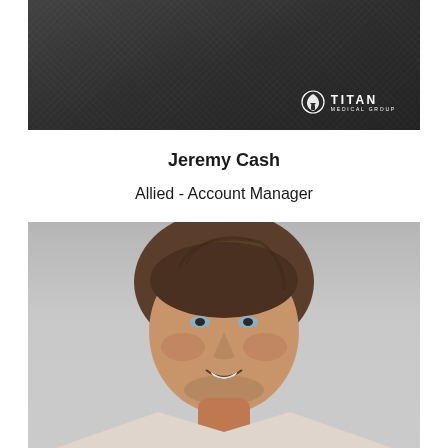[Figure (photo): Person wearing a dark charcoal Titan Medical Group branded t-shirt, cropped to show torso/chest with logo visible on right chest area]
Jeremy Cash
Allied - Account Manager
[Figure (photo): Headshot photo of Jeremy Cash, a middle-aged man with short brown hair, smiling, wearing casual clothing, against a light gray background]